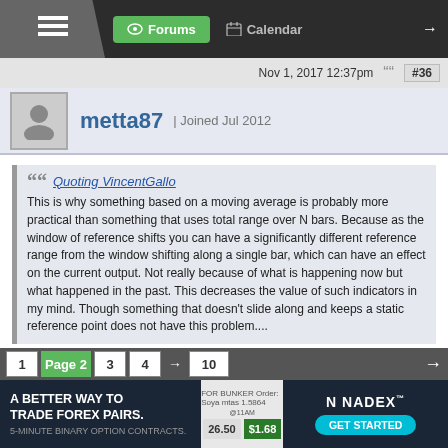Forums | Calendar
Nov 1, 2017 12:37pm  #36
metta87 | Joined Jul 2012
Quoting VincentGallo
This is why something based on a moving average is probably more practical than something that uses total range over N bars. Because as the window of reference shifts you can have a significantly different reference range from the window shifting along a single bar, which can have an effect on the current output. Not really because of what is happening now but what happened in the past. This decreases the value of such indicators in my mind. Though something that doesn't slide along and keeps a static reference point does not have this problem....
reduced to a line ok but how to go about trading it ?you mentioned 2 options in another thread. Tight sl and placing a line where there is lot of volatility. tight sl could still fail due to being whipsawed to death by price and the problem with volatility is being able to predict a place where there will be lot of
1  Page 2  3  4  → 10
[Figure (screenshot): Advertisement banner: A BETTER WAY TO TRADE FOREX PAIRS. 5-MINUTE BINARY OPTION CONTRACTS. | Chart image | NADEX GET STARTED]